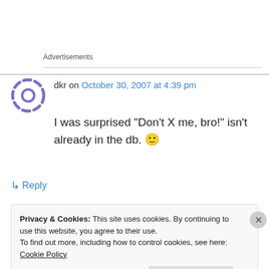Advertisements
dkr on October 30, 2007 at 4:39 pm
I was surprised “Don’t X me, bro!” isn’t already in the db. 🙂
↳ Reply
Privacy & Cookies: This site uses cookies. By continuing to use this website, you agree to their use.
To find out more, including how to control cookies, see here: Cookie Policy